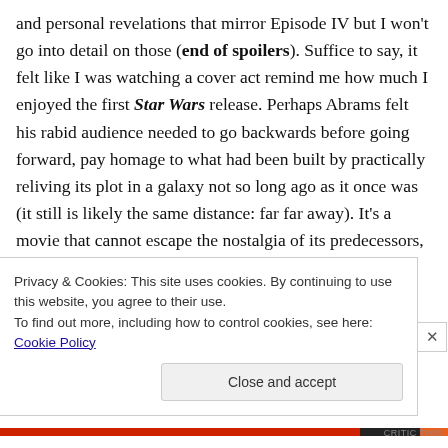and personal revelations that mirror Episode IV but I won't go into detail on those (end of spoilers). Suffice to say, it felt like I was watching a cover act remind me how much I enjoyed the first Star Wars release. Perhaps Abrams felt his rabid audience needed to go backwards before going forward, pay homage to what had been built by practically reliving its plot in a galaxy not so long ago as it once was (it still is likely the same distance: far far away). It's a movie that cannot escape the nostalgia of its predecessors, and so it indulges it instead. In deferring to fan demands, Force Awakens has moments that waver
Privacy & Cookies: This site uses cookies. By continuing to use this website, you agree to their use.
To find out more, including how to control cookies, see here: Cookie Policy
Close and accept